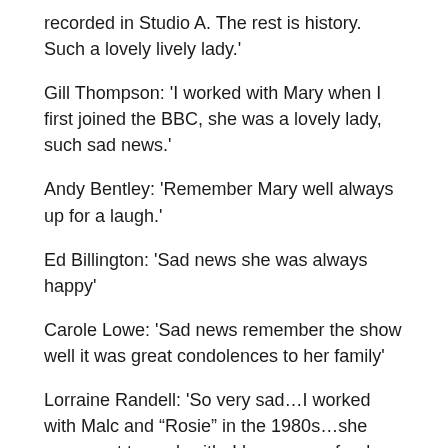recorded in Studio A. The rest is history. Such a lovely lively lady.'
Gill Thompson: 'I worked with Mary when I first joined the BBC, she was a lovely lady, such sad news.'
Andy Bentley: 'Remember Mary well always up for a laugh.'
Ed Billington: 'Sad news she was always happy'
Carole Lowe: 'Sad news remember the show well it was great condolences to her family'
Lorraine Randell: 'So very sad…I worked with Malc and “Rosie” in the 1980s…she was great to work with..I have many fond memories of those days.'